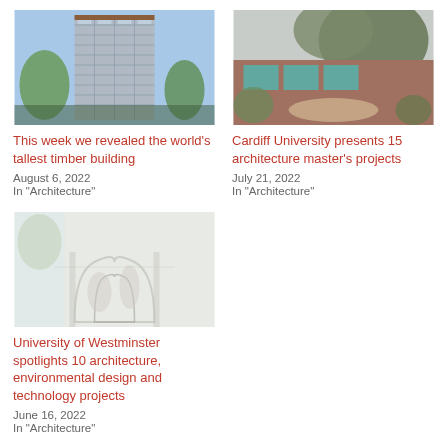[Figure (photo): Tall modern timber skyscraper building with trees in foreground]
This week we revealed the world's tallest timber building
August 6, 2022
In "Architecture"
[Figure (photo): Cardiff University architecture building exterior with trees]
Cardiff University presents 15 architecture master's projects
July 21, 2022
In "Architecture"
[Figure (photo): University of Westminster architecture interior with gothic arches, faded/light image]
University of Westminster spotlights 10 architecture, environmental design and technology projects
June 16, 2022
In "Architecture"